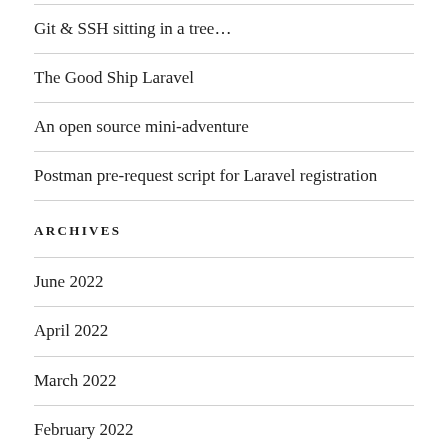Git & SSH sitting in a tree…
The Good Ship Laravel
An open source mini-adventure
Postman pre-request script for Laravel registration
ARCHIVES
June 2022
April 2022
March 2022
February 2022
May 2021